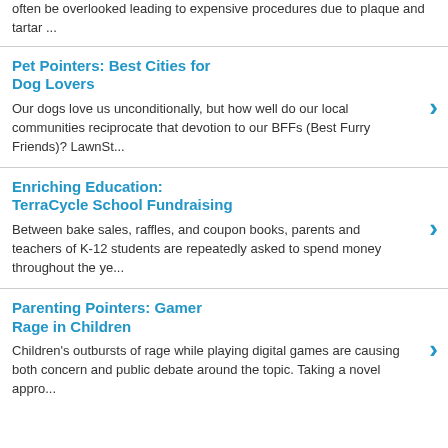often be overlooked leading to expensive procedures due to plaque and tartar ...
Pet Pointers: Best Cities for Dog Lovers
Our dogs love us unconditionally, but how well do our local communities reciprocate that devotion to our BFFs (Best Furry Friends)? LawnSt...
Enriching Education: TerraCycle School Fundraising
Between bake sales, raffles, and coupon books, parents and teachers of K-12 students are repeatedly asked to spend money throughout the ye...
Parenting Pointers: Gamer Rage in Children
Children's outbursts of rage while playing digital games are causing both concern and public debate around the topic. Taking a novel appro...